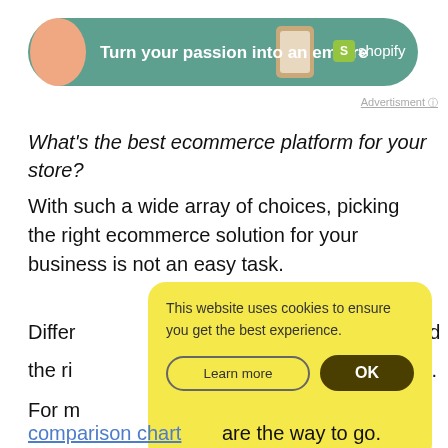[Figure (illustration): Shopify advertisement banner with green rounded rectangle, text 'Turn your passion into an empire' and Shopify logo]
Advertisment ⓘ
What’s the best ecommerce platform for your store?
With such a wide array of choices, picking the right ecommerce solution for your business is not an easy task.
Differ… and the ri… ws.
[Figure (other): Cookie consent popup overlay with yellow background. Text: 'This website uses cookies to ensure you get the best experience.' with 'Learn more' and 'OK' buttons.]
For m…
comparison chart are the way to go.